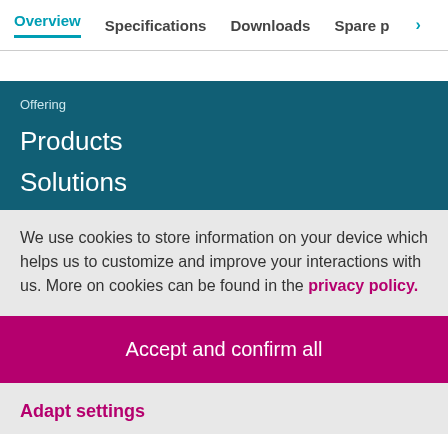Overview | Specifications | Downloads | Spare p >
Offering
Products
Solutions
We use cookies to store information on your device which helps us to customize and improve your interactions with us. More on cookies can be found in the privacy policy.
Accept and confirm all
Adapt settings